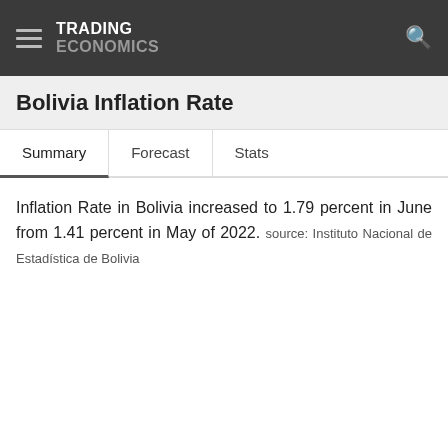TRADING ECONOMICS
Bolivia Inflation Rate
Summary  Forecast  Stats
Inflation Rate in Bolivia increased to 1.79 percent in June from 1.41 percent in May of 2022. source: Instituto Nacional de Estadística de Bolivia